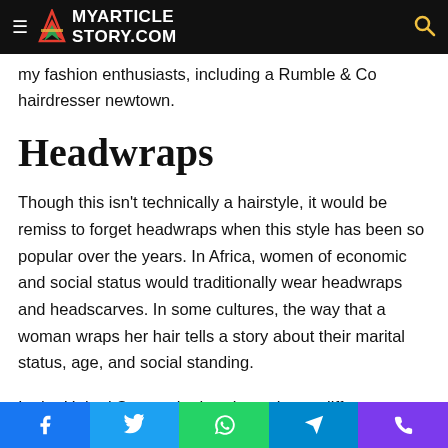MYARTICLESTORY.COM
my fashion enthusiasts, including a Rumble & Co hairdresser newtown.
Headwraps
Though this isn't technically a hairstyle, it would be remiss to forget headwraps when this style has been so popular over the years. In Africa, women of economic and social status would traditionally wear headwraps and headscarves. In some cultures, the way that a woman wraps her hair tells a story about their marital status, age, and social standing.
In the United States, the headwrap has a different story. Africans who made their way to the United States would be
Facebook Twitter WhatsApp Telegram Phone